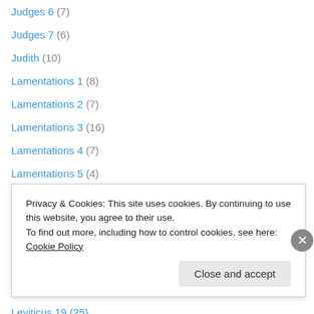Judges 6 (7)
Judges 7 (6)
Judith (10)
Lamentations 1 (8)
Lamentations 2 (7)
Lamentations 3 (16)
Lamentations 4 (7)
Lamentations 5 (4)
Leviticus 12 (9)
Leviticus 14 (7)
Leviticus 15 (7)
Leviticus 16 (7)
Leviticus 18 (6)
Leviticus 19 (25)
Privacy & Cookies: This site uses cookies. By continuing to use this website, you agree to their use. To find out more, including how to control cookies, see here: Cookie Policy
Close and accept